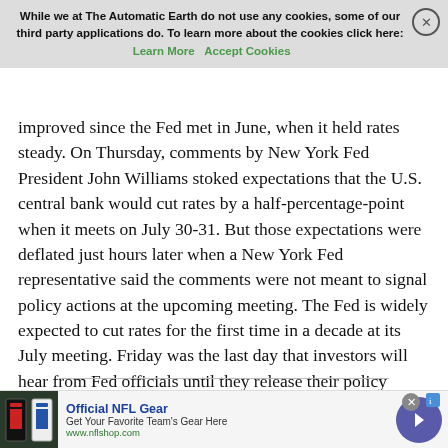While we at The Automatic Earth do not use any cookies, some of our third party applications do. To learn more about the cookies click here: Learn More   Accept Cookies
improved since the Fed met in June, when it held rates steady. On Thursday, comments by New York Fed President John Williams stoked expectations that the U.S. central bank would cut rates by a half-percentage-point when it meets on July 30-31. But those expectations were deflated just hours later when a New York Fed representative said the comments were not meant to signal policy actions at the upcoming meeting. The Fed is widely expected to cut rates for the first time in a decade at its July meeting. Friday was the last day that investors will hear from Fed officials until they release their policy statement at the close of the July meeting.
Read more …
[Figure (other): Advertisement banner for Official NFL Gear with image of NFL jerseys, text: Official NFL Gear, Get Your Favorite Team's Gear Here, www.nflshop.com, and arrow button]